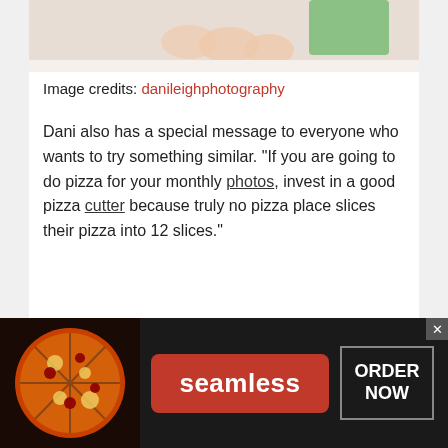[Figure (photo): Partial photo at top showing baby feet and hands on white surface with green clothing visible]
Image credits: danileighphotography
Dani also has a special message to everyone who wants to try something similar. "If you are going to do pizza for your monthly photos, invest in a good pizza cutter because truly no pizza place slices their pizza into 12 slices."
[Figure (photo): Family photo showing a smiling man with glasses in a blue shirt, a woman with hair up, and a young blonde child, sitting together indoors]
[Figure (screenshot): Infolinks advertisement banner for Seamless food delivery showing pizza image on left, Seamless logo in red box in center, and ORDER NOW button on right]